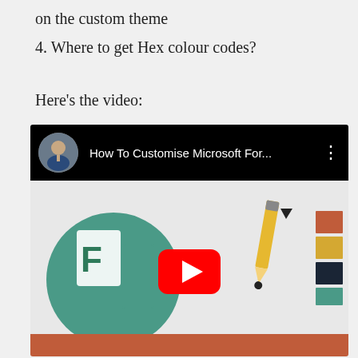on the custom theme
4. Where to get Hex colour codes?
Here’s the video:
[Figure (screenshot): YouTube embedded video thumbnail showing 'How To Customise Microsoft For...' with a black top bar containing a circular avatar, title, and three-dot menu. The thumbnail shows a Microsoft Forms logo on a teal circle, a pencil with color swatches, and a YouTube play button overlay. Partial text reads 'to customise Forms Pro The' at the top of the thumbnail.]